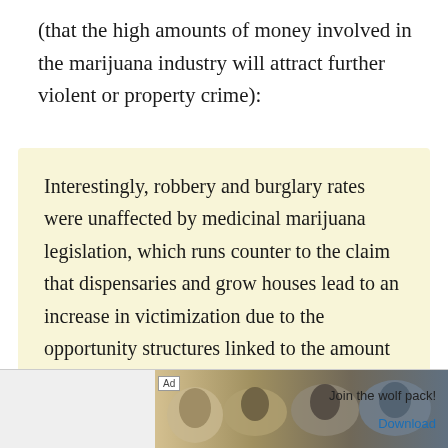(that the high amounts of money involved in the marijuana industry will attract further violent or property crime):
Interestingly, robbery and burglary rates were unaffected by medicinal marijuana legislation, which runs counter to the claim that dispensaries and grow houses lead to an increase in victimization due to the opportunity structures linked to the amount of drugs and cash that are present.
This is...
[Figure (other): Advertisement banner showing wolves with text 'Join the wolf pack!' and a 'Download' link]